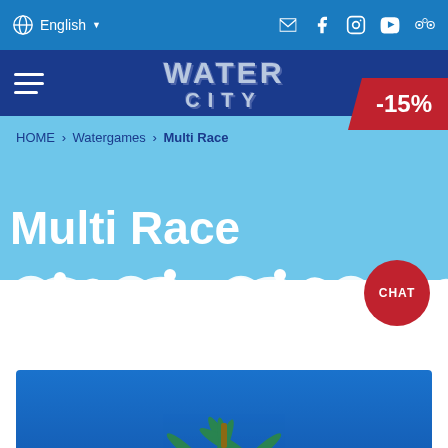English
[Figure (logo): Water City logo with text WATER CITY in stylized font on dark blue background]
-15%
HOME › Watergames › Multi Race
Multi Race
[Figure (illustration): Wave decoration with white curling waves on light blue background, CHAT button overlay]
[Figure (photo): Blue sky with palm trees visible at bottom of page]